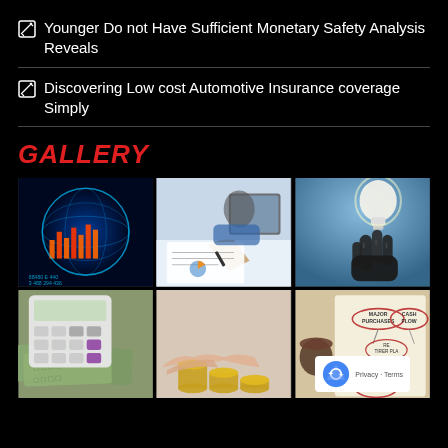✎  Younger Do not Have Sufficient Monetary Safety Analysis Reveals
✎  Discovering Low cost Automotive Insurance coverage Simply
GALLERY
[Figure (photo): Glowing globe with financial stock chart data overlay]
[Figure (photo): Business person signing documents at a desk with a tablet]
[Figure (photo): Robotic hand holding a light bulb]
[Figure (photo): Calculator on top of US dollar bills]
[Figure (photo): Hands stacking gold coins]
[Figure (photo): Financial planning mind map with labels: Major Purchases, Cash Flow, Estate, Education, Retirement Planning]